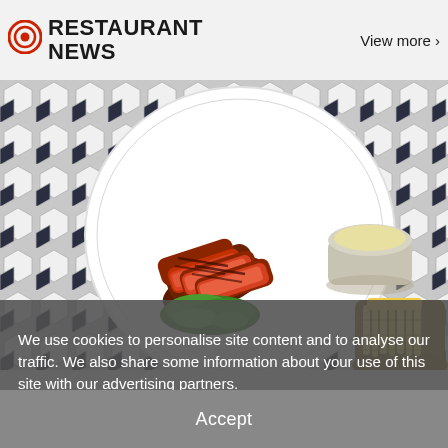RESTAURANT NEWS
View more ›
[Figure (photo): Overhead/close-up photo of a white plate with sliced grilled steak, greens, and a small cup of sauce, alongside a bowl of french fries, all on a hexagon tile background.]
We use cookies to personalise site content and to analyse our traffic. We also share some information about your use of this site with our advertising partners.
Privacy Policy
Accept